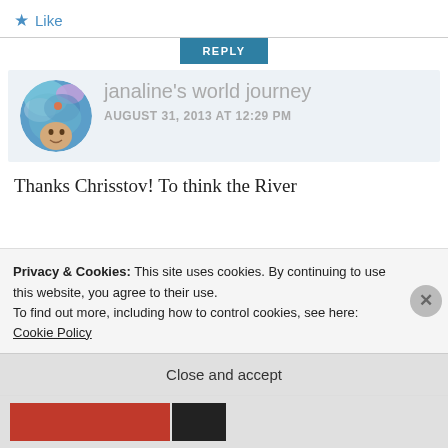★ Like
REPLY
[Figure (photo): Circular avatar image of janaline's world journey blog, showing an artistic blue swirl background with a face]
janaline's world journey
AUGUST 31, 2013 AT 12:29 PM
Thanks Chrisstov! To think the River
Privacy & Cookies: This site uses cookies. By continuing to use this website, you agree to their use.
To find out more, including how to control cookies, see here: Cookie Policy
Close and accept